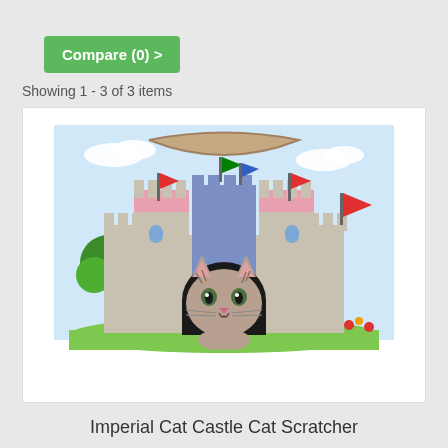Compare (0) >
Showing 1 - 3 of 3 items
[Figure (photo): A cat sitting inside a cardboard castle cat scratcher toy with colorful castle graphics including towers, flags, and a drawbridge entrance]
Imperial Cat Castle Cat Scratcher